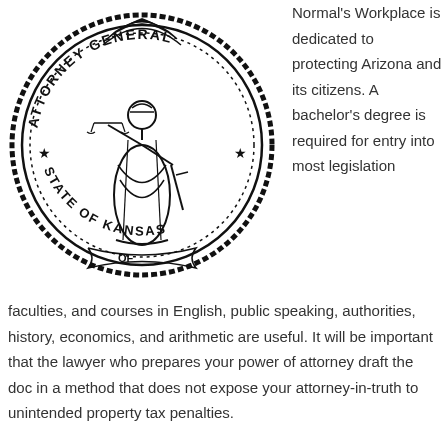[Figure (illustration): Official seal of the Attorney General, State of Kansas. Circular seal with rope border, featuring Lady Justice holding scales and a sword, surrounded by text 'ATTORNEY GENERAL' on top and 'STATE OF KANSAS' on bottom, with stars and a banner reading 'OF'.]
Normal's Workplace is dedicated to protecting Arizona and its citizens. A bachelor's degree is required for entry into most legislation faculties, and courses in English, public speaking, authorities, history, economics, and arithmetic are useful. It will be important that the lawyer who prepares your power of attorney draft the doc in a method that does not expose your attorney-in-truth to unintended property tax penalties.